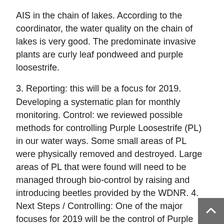AIS in the chain of lakes. According to the coordinator, the water quality on the chain of lakes is very good. The predominate invasive plants are curly leaf pondweed and purple loosestrife.
3. Reporting: this will be a focus for 2019. Developing a systematic plan for monthly monitoring. Control: we reviewed possible methods for controlling Purple Loosestrife (PL) in our water ways. Some small areas of PL were physically removed and destroyed. Large areas of PL that were found will need to be managed through bio-control by raising and introducing beetles provided by the WDNR. 4. Next Steps / Controlling: One of the major focuses for 2019 will be the control of Purple Loosestrife (PL). As mentioned, this will involve the raising of beetles that feed only on the PL. To accomplish this the committee is looking for someone who lives full time on the Island Chain of Lakes who has a sunny location